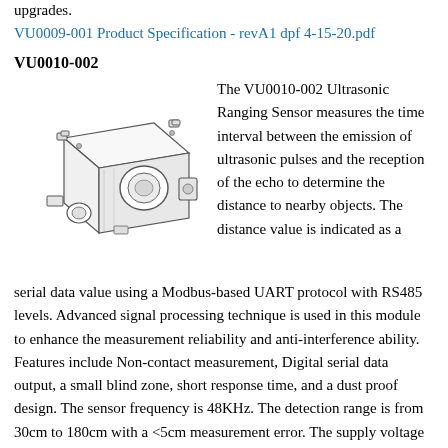upgrades.
VU0009-001 Product Specification - revA1 dpf 4-15-20.pdf
VU0010-002
[Figure (illustration): Line drawing / technical illustration of the VU0010-002 Ultrasonic Ranging Sensor, showing a box-shaped sensor module with a circular transducer on the front face, mounting brackets, and connector ports.]
The VU0010-002 Ultrasonic Ranging Sensor measures the time interval between the emission of ultrasonic pulses and the reception of the echo to determine the distance to nearby objects. The distance value is indicated as a serial data value using a Modbus-based UART protocol with RS485 levels. Advanced signal processing technique is used in this module to enhance the measurement reliability and anti-interference ability. Features include Non-contact measurement, Digital serial data output, a small blind zone, short response time, and a dust proof design. The sensor frequency is 48KHz. The detection range is from 30cm to 180cm with a <5cm measurement error. The supply voltage